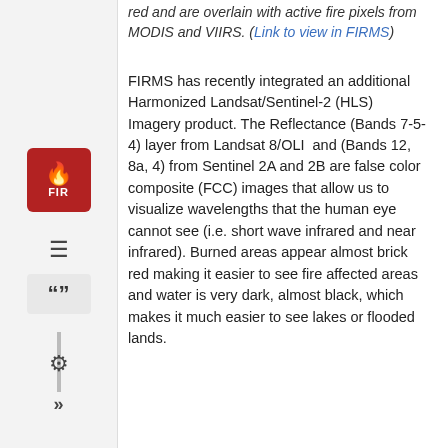red and are overlain with active fire pixels from MODIS and VIIRS. (Link to view in FIRMS)
[Figure (logo): FIRMS fire logo: red square icon with flame emoji and FIR text]
[Figure (other): Document/list icon sidebar button]
[Figure (other): Quotation mark sidebar button]
FIRMS has recently integrated an additional Harmonized Landsat/Sentinel-2 (HLS) Imagery product. The Reflectance (Bands 7-5-4) layer from Landsat 8/OLI  and (Bands 12, 8a, 4) from Sentinel 2A and 2B are false color composite (FCC) images that allow us to visualize wavelengths that the human eye cannot see (i.e. short wave infrared and near infrared). Burned areas appear almost brick red making it easier to see fire affected areas and water is very dark, almost black, which makes it much easier to see lakes or flooded lands.
[Figure (other): Gear/settings icon in sidebar]
[Figure (other): Double arrow/chevron icon in sidebar]